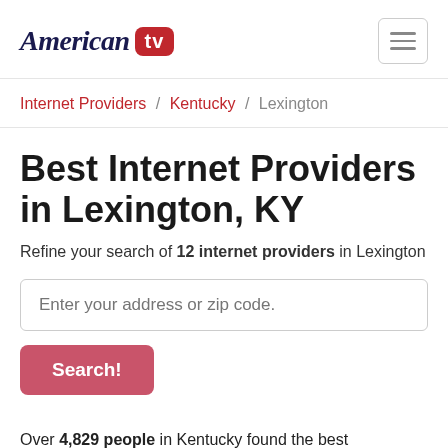American TV
Internet Providers / Kentucky / Lexington
Best Internet Providers in Lexington, KY
Refine your search of 12 internet providers in Lexington
Enter your address or zip code.
Search!
Over 4,829 people in Kentucky found the best